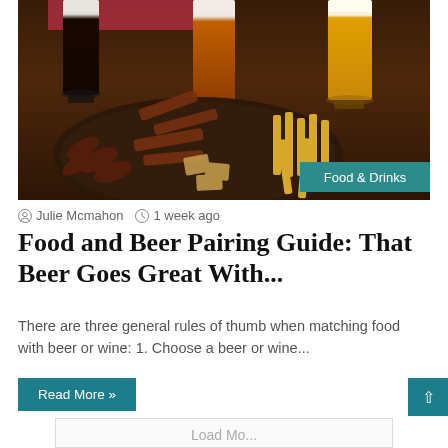[Figure (photo): Photo of beer glasses and a plate of food (grilled meats, fries, snacks) on a dark wooden table. A teal 'Food & Drinks' badge overlays the bottom right corner of the image.]
Julie Mcmahon  1 week ago
Food and Beer Pairing Guide: That Beer Goes Great With...
There are three general rules of thumb when matching food with beer or wine: 1. Choose a beer or wine...
Read More »
Load More...